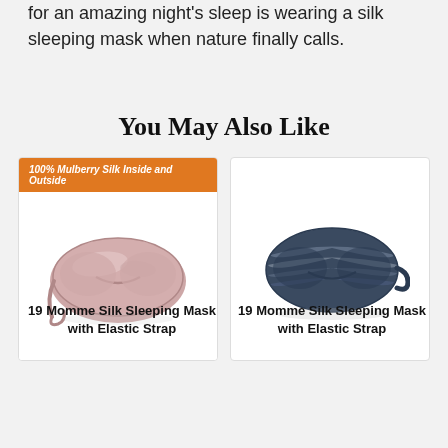for an amazing night's sleep is wearing a silk sleeping mask when nature finally calls.
You May Also Like
[Figure (photo): Pink silk sleeping mask with elastic strap, with orange banner '100% Mulberry Silk Inside and Outside']
[Figure (photo): Navy/grey silk sleeping mask with elastic strap, no banner]
19 Momme Silk Sleeping Mask with Elastic Strap
19 Momme Silk Sleeping Mask with Elastic Strap